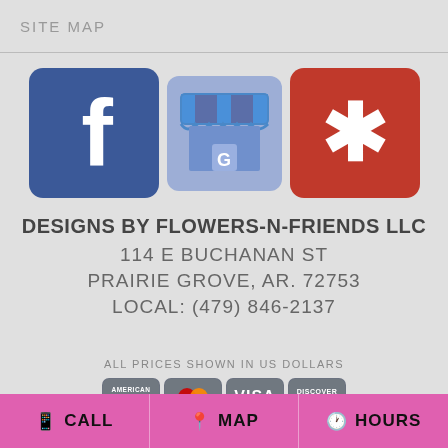SITE MAP
[Figure (logo): Social media icons: Facebook (blue 'f' logo), Google My Business (storefront with awning), and Yelp (red 'y' logo)]
DESIGNS BY FLOWERS-N-FRIENDS LLC
114 E BUCHANAN ST
PRAIRIE GROVE, AR. 72753
LOCAL: (479) 846-2137
ALL PRICES SHOWN IN US DOLLARS
[Figure (logo): Payment method icons: American Express, Mastercard, Visa, Discover]
CALL   MAP   HOURS